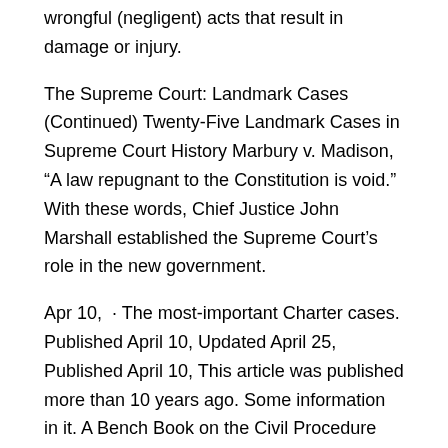wrongful (negligent) acts that result in damage or injury.
The Supreme Court: Landmark Cases (Continued) Twenty-Five Landmark Cases in Supreme Court History Marbury v. Madison, “A law repugnant to the Constitution is void.” With these words, Chief Justice John Marshall established the Supreme Court’s role in the new government.
Apr 10,  · The most-important Charter cases. Published April 10, Updated April 25, Published April 10, This article was published more than 10 years ago. Some information in it. A Bench Book on the Civil Procedure Act Contains commentary on obligations, discovery, case management, and resolution.
A collection of summaries of all significant Charter cases from the Supreme Court of Victoria. Contains a description of the factual issues, area of law, and a thorough account of the Charter arguments and the. This companion volume to The Court and the Constitution focuses specifically on the Charter of Rights and Freedoms.
It features 36 cases that each include a concise introduction that